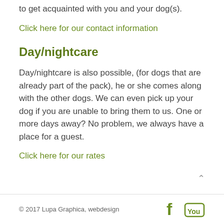to get acquainted with you and your dog(s).
Click here for our contact information
Day/nightcare
Day/nightcare is also possible, (for dogs that are already part of the pack), he or she comes along with the other dogs. We can even pick up your dog if you are unable to bring them to us. One or more days away? No problem, we always have a place for a guest.
Click here for our rates
© 2017 Lupa Graphica, webdesign